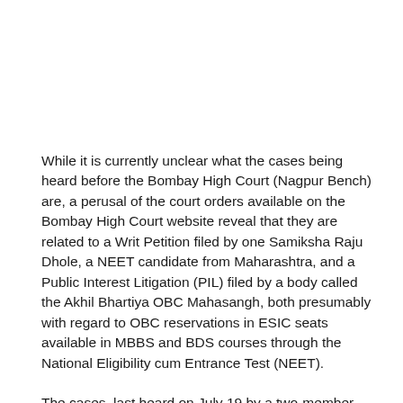While it is currently unclear what the cases being heard before the Bombay High Court (Nagpur Bench) are, a perusal of the court orders available on the Bombay High Court website reveal that they are related to a Writ Petition filed by one Samiksha Raju Dhole, a NEET candidate from Maharashtra, and a Public Interest Litigation (PIL) filed by a body called the Akhil Bhartiya OBC Mahasangh, both presumably with regard to OBC reservations in ESIC seats available in MBBS and BDS courses through the National Eligibility cum Entrance Test (NEET).
The cases, last heard on July 19 by a two-member Bench of the Bombay High Court in Nagpur comprising Justices BP Dharmadhikari and ZA Haq, are now scheduled to be heard on July 26. It is expected that any further update on the 2018 NEET counselling process can only be expected after that date unless